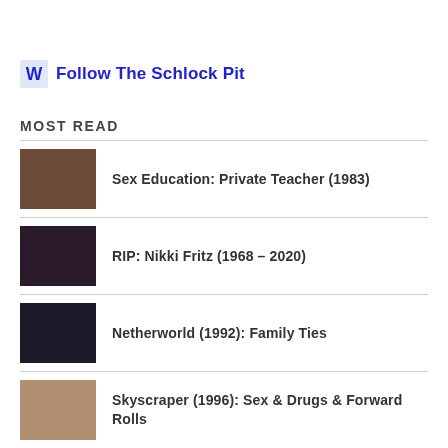Follow The Schlock Pit
MOST READ
Sex Education: Private Teacher (1983)
RIP: Nikki Fritz (1968 – 2020)
Netherworld (1992): Family Ties
Skyscraper (1996): Sex & Drugs & Forward Rolls
Blue Ray Package...